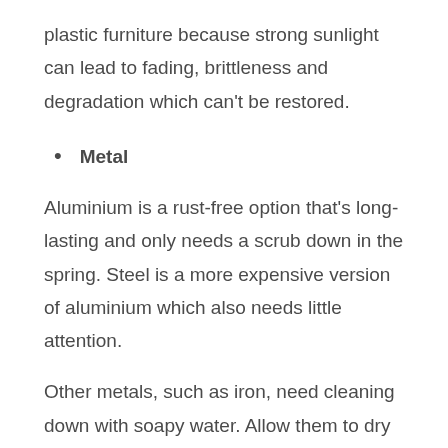plastic furniture because strong sunlight can lead to fading, brittleness and degradation which can't be restored.
Metal
Aluminium is a rust-free option that's long-lasting and only needs a scrub down in the spring. Steel is a more expensive version of aluminium which also needs little attention.
Other metals, such as iron, need cleaning down with soapy water. Allow them to dry and then